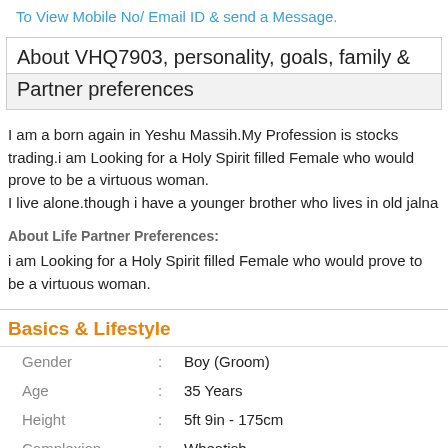To View Mobile No/ Email ID & send a Message.
About VHQ7903, personality, goals, family & Partner preferences
I am a born again in Yeshu Massih.My Profession is stocks trading.i am Looking for a Holy Spirit filled Female who would prove to be a virtuous woman.
I live alone.though i have a younger brother who lives in old jalna
About Life Partner Preferences:
i am Looking for a Holy Spirit filled Female who would prove to be a virtuous woman.
Basics & Lifestyle
| Field |  | Value |
| --- | --- | --- |
| Gender | : | Boy (Groom) |
| Age | : | 35 Years |
| Height | : | 5ft 9in - 175cm |
| Complexion | : | Wheatish |